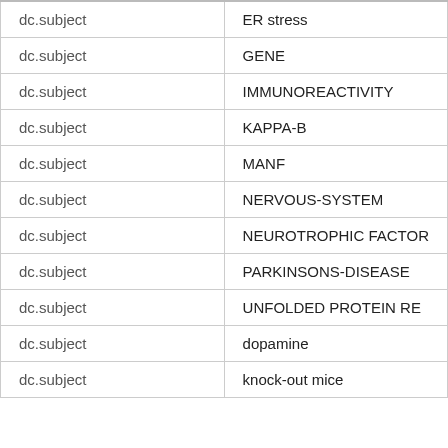| dc.subject | ER stress |
| dc.subject | GENE |
| dc.subject | IMMUNOREACTIVITY |
| dc.subject | KAPPA-B |
| dc.subject | MANF |
| dc.subject | NERVOUS-SYSTEM |
| dc.subject | NEUROTROPHIC FACTOR |
| dc.subject | PARKINSONS-DISEASE |
| dc.subject | UNFOLDED PROTEIN RE |
| dc.subject | dopamine |
| dc.subject | knock-out mice |